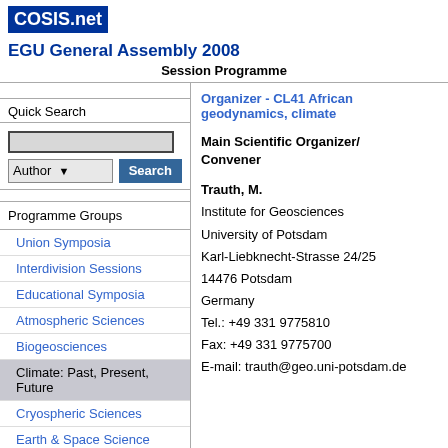COSIS.net
EGU General Assembly 2008
Session Programme
Quick Search
Programme Groups
Union Symposia
Interdivision Sessions
Educational Symposia
Atmospheric Sciences
Biogeosciences
Climate: Past, Present, Future
Cryospheric Sciences
Earth & Space Science
Organizer - CL41 African geodynamics, climate
Main Scientific Organizer/
Convener
Trauth, M.
Institute for Geosciences
University of Potsdam
Karl-Liebknecht-Strasse 24/25
14476 Potsdam
Germany
Tel.: +49 331 9775810
Fax: +49 331 9775700
E-mail: trauth@geo.uni-potsdam.de